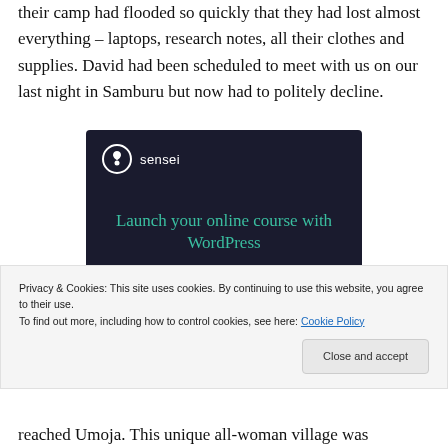their camp had flooded so quickly that they had lost almost everything – laptops, research notes, all their clothes and supplies. David had been scheduled to meet with us on our last night in Samburu but now had to politely decline.
[Figure (other): Advertisement for Sensei plugin: dark navy background with Sensei logo (tree icon in white circle), headline 'Launch your online course with WordPress' in teal, and a teal 'Learn More' button.]
Privacy & Cookies: This site uses cookies. By continuing to use this website, you agree to their use.
To find out more, including how to control cookies, see here: Cookie Policy
reached Umoja. This unique all-woman village was